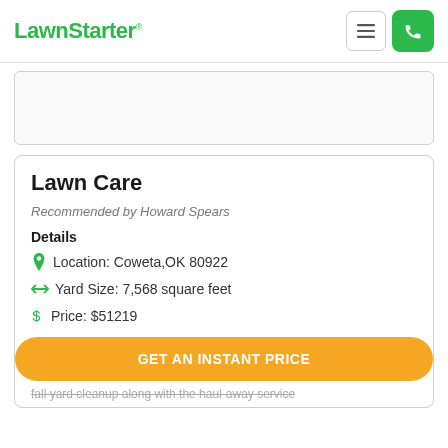LawnStarter
[Figure (other): Gray placeholder card area, partially visible content region with light border]
Lawn Care
Recommended by Howard Spears
Details
Location: Coweta,OK 80922
Yard Size: 7,568 square feet
Price: $51219
GET AN INSTANT PRICE
fall yard cleanup along with the haul-away service